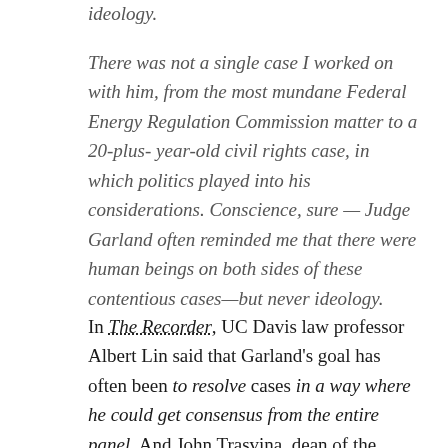ideology.
There was not a single case I worked on with him, from the most mundane Federal Energy Regulation Commission matter to a 20-plus-year-old civil rights case, in which politics played into his considerations. Conscience, sure — Judge Garland often reminded me that there were human beings on both sides of these contentious cases—but never ideology.
In The Recorder, UC Davis law professor Albert Lin said that Garland's goal has often been to resolve cases in a way where he could get consensus from the entire panel. And John Trasvina, dean of the University of San Francisco School of Law, said: I couldn't imagine him ending a discussion based on whose